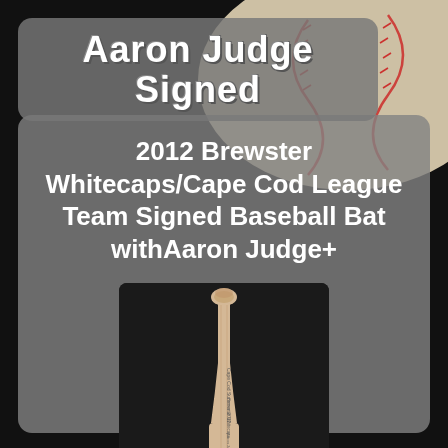Aaron Judge Signed
2012 Brewster Whitecaps/Cape Cod League Team Signed Baseball Bat withAaron Judge+
[Figure (photo): A wooden baseball bat oriented vertically, light tan/natural wood color, with signatures written on it, photographed against a dark background.]